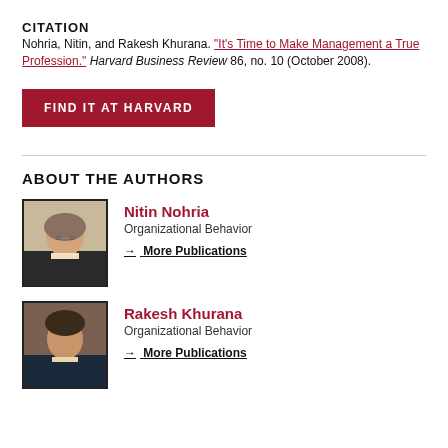CITATION
Nohria, Nitin, and Rakesh Khurana. "It's Time to Make Management a True Profession." Harvard Business Review 86, no. 10 (October 2008).
FIND IT AT HARVARD
ABOUT THE AUTHORS
[Figure (photo): Headshot of Nitin Nohria, a bald man with glasses wearing a dark suit]
Nitin Nohria
Organizational Behavior
→ More Publications
[Figure (photo): Headshot of Rakesh Khurana, a man with dark hair wearing a dark suit]
Rakesh Khurana
Organizational Behavior
→ More Publications